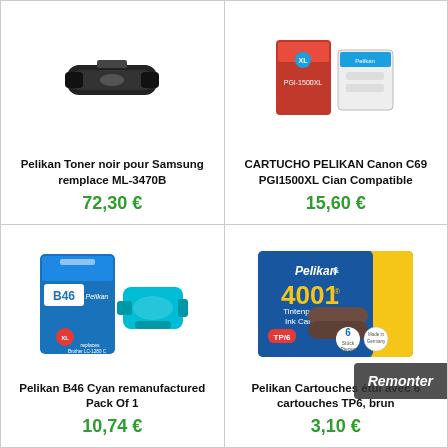[Figure (photo): Pelikan toner cartridge black for Samsung, product image]
Pelikan Toner noir pour Samsung remplace ML-3470B
72,30 €
[Figure (photo): CARTUCHO PELIKAN Canon C69 PGI1500XL Cian Compatible, red product box with ink cartridge]
CARTUCHO PELIKAN Canon C69 PGI1500XL Cian Compatible
15,60 €
[Figure (photo): Pelikan B46 Cyan remanufactured ink cartridge for Brother, blue packaging with XL label]
Pelikan B46 Cyan remanufactured Pack Of 1
10,74 €
[Figure (photo): Pelikan 4001 Tintenpatronen Ink Cartridges TP/6 brun, blue and yellow box with 6 brown ink cartridges]
Pelikan Cartouches étui avec 6 cartouches TP6, brun
3,10 €